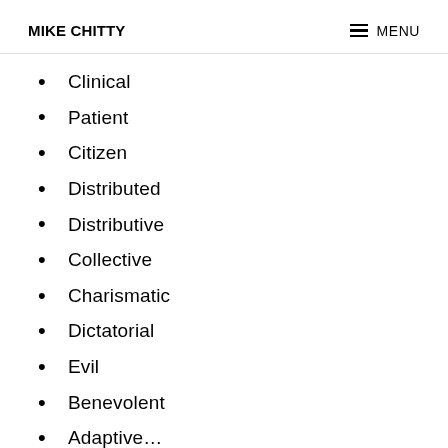MIKE CHITTY | MENU
Clinical
Patient
Citizen
Distributed
Distributive
Collective
Charismatic
Dictatorial
Evil
Benevolent
Adaptive…